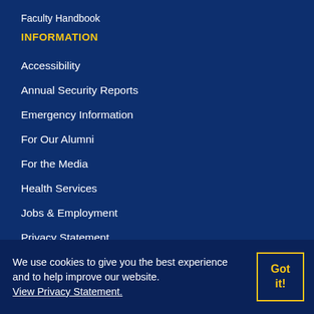Faculty Handbook
INFORMATION
Accessibility
Annual Security Reports
Emergency Information
For Our Alumni
For the Media
Health Services
Jobs & Employment
Privacy Statement
HEERF CARES/CRRSAA/ARP Act Reporting and Disclosure
Website Feedback
We use cookies to give you the best experience and to help improve our website. View Privacy Statement.